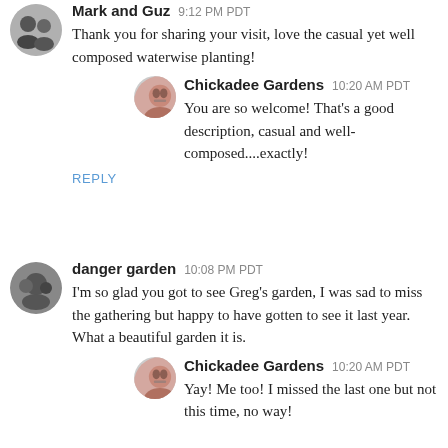Mark and Guz  9:12 PM PDT
Thank you for sharing your visit, love the casual yet well composed waterwise planting!
Chickadee Gardens  10:20 AM PDT
You are so welcome! That's a good description, casual and well-composed....exactly!
REPLY
danger garden  10:08 PM PDT
I'm so glad you got to see Greg's garden, I was sad to miss the gathering but happy to have gotten to see it last year. What a beautiful garden it is.
Chickadee Gardens  10:20 AM PDT
Yay! Me too! I missed the last one but not this time, no way!